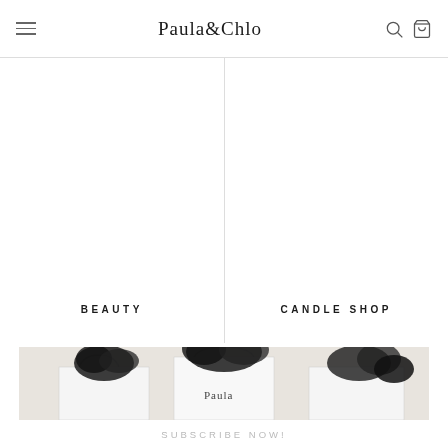Paula&Chlo
BEAUTY
CANDLE SHOP
[Figure (photo): White shopping bags with black tissue paper and Paula branding on a light background]
SUBSCRIBE NOW!